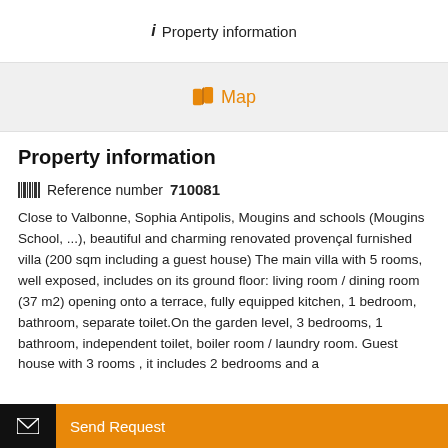ⓘ Property information
[Figure (other): Map link button with orange map icon]
Property information
Reference number 710081
Close to Valbonne, Sophia Antipolis, Mougins and schools (Mougins School, ...), beautiful and charming renovated provençal furnished villa (200 sqm including a guest house) The main villa with 5 rooms, well exposed, includes on its ground floor: living room / dining room (37 m2) opening onto a terrace, fully equipped kitchen, 1 bedroom, bathroom, separate toilet. On the garden level, 3 bedrooms, 1 bathroom, independent toilet, boiler room / laundry room. Guest house with 3 rooms , it includes 2 bedrooms and a
Send Request